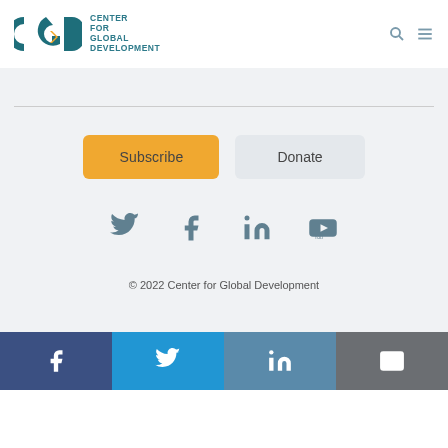[Figure (logo): CGD Center for Global Development logo with teal CGD letters and yellow arrow, plus search and menu icons in header]
[Figure (illustration): Subscribe and Donate buttons on gray background]
[Figure (illustration): Social media icons: Twitter, Facebook, LinkedIn, YouTube on gray background]
© 2022 Center for Global Development
[Figure (illustration): Bottom social share bar with Facebook, Twitter, LinkedIn, and Email icons]